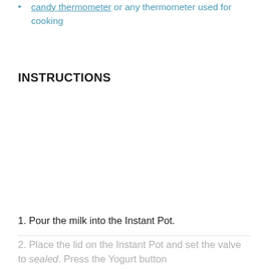candy thermometer or any thermometer used for cooking
INSTRUCTIONS
1. Pour the milk into the Instant Pot.
2. Place the lid on the Instant Pot and set the valve to sealed. Press the Yogurt button